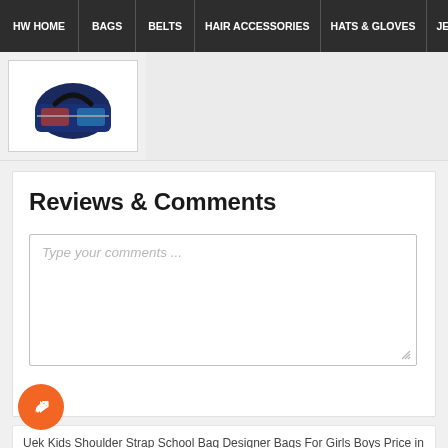HW HOME | BAGS | BELTS | HAIR ACCESSORIES | HATS & GLOVES | JEWE
[Figure (photo): Small thumbnail of a dark blue/navy kids school bag with graphic print, shown against white background]
Reviews & Comments
Type your comments ...
Uek Kids Shoulder Strap School Bag Designer Bags For Girls Boys Price in Pakistan - Today on 28 Aug, 2022 Uek Kids Shoulder Strap